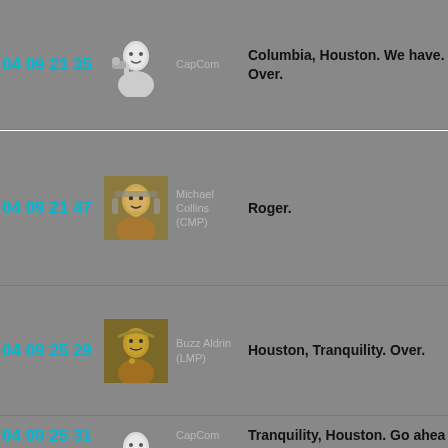04 09 21 35 | CapCom | Columbia, Houston. We have. Over.
04 09 21 47 | Michael Collins (CMP) | Roger.
04 09 25 29 | Buzz Aldrin (LMP) | Houston, Tranquility. Over.
04 09 25 31 | CapCom | Tranquility, Houston. Go ahea...
04 09 25 38 | Buzz Aldrin (LMP) | Roger. This is the LM pilot. I'd... listening in, whoever and whe...